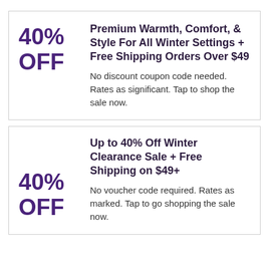40% OFF
Premium Warmth, Comfort, & Style For All Winter Settings + Free Shipping Orders Over $49
No discount coupon code needed. Rates as significant. Tap to shop the sale now.
40% OFF
Up to 40% Off Winter Clearance Sale + Free Shipping on $49+
No voucher code required. Rates as marked. Tap to go shopping the sale now.